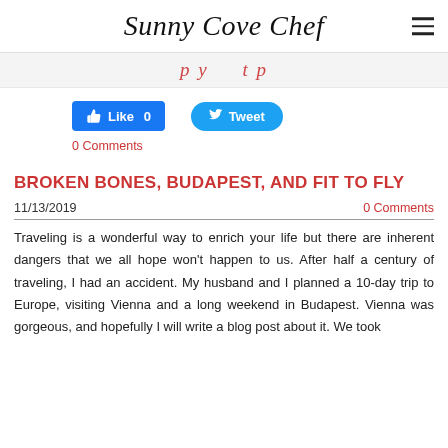Sunny Cove Chef
[Figure (other): Partial view of a decorative/image bar showing partial italic red text, likely a blog post image crop]
[Figure (other): Facebook Like button showing count 0 and Twitter Tweet button]
0 Comments
BROKEN BONES, BUDAPEST, AND FIT TO FLY
11/13/2019   0 Comments
Traveling is a wonderful way to enrich your life but there are inherent dangers that we all hope won't happen to us. After half a century of traveling, I had an accident. My husband and I planned a 10-day trip to Europe, visiting Vienna and a long weekend in Budapest. Vienna was gorgeous, and hopefully I will write a blog post about it. We took